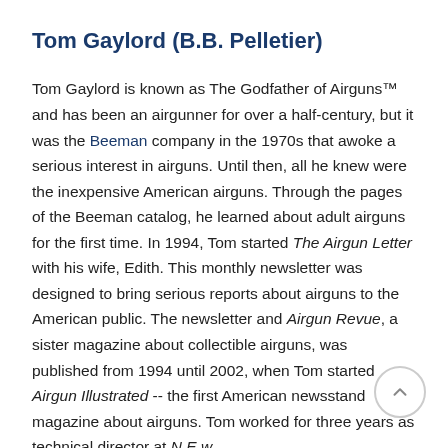Tom Gaylord (B.B. Pelletier)
Tom Gaylord is known as The Godfather of Airguns™ and has been an airgunner for over a half-century, but it was the Beeman company in the 1970s that awoke a serious interest in airguns. Until then, all he knew were the inexpensive American airguns. Through the pages of the Beeman catalog, he learned about adult airguns for the first time. In 1994, Tom started The Airgun Letter with his wife, Edith. This monthly newsletter was designed to bring serious reports about airguns to the American public. The newsletter and Airgun Revue, a sister magazine about collectible airguns, was published from 1994 until 2002, when Tom started Airgun Illustrated -- the first American newsstand magazine about airguns. Tom worked for three years as technical director at...